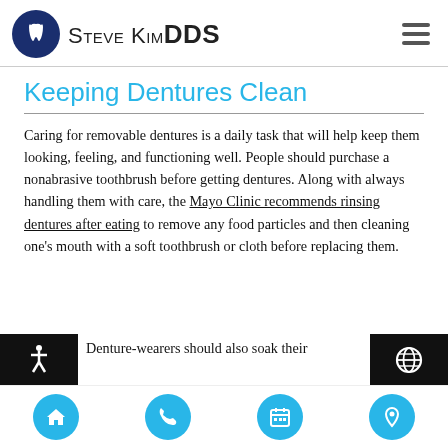Steve Kim DDS
Keeping Dentures Clean
Caring for removable dentures is a daily task that will help keep them looking, feeling, and functioning well. People should purchase a nonabrasive toothbrush before getting dentures. Along with always handling them with care, the Mayo Clinic recommends rinsing dentures after eating to remove any food particles and then cleaning one's mouth with a soft toothbrush or cloth before replacing them.
Denture-wearers should also soak their